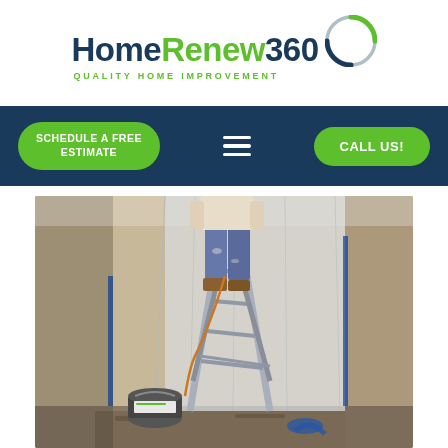[Figure (logo): HomeRenew360 logo with tagline 'QUALITY HOME IMPROVEMENT' and circular badge]
[Figure (infographic): Dark navy navigation bar with green rounded 'SCHEDULE A FREE ESTIMATE' button on left, hamburger menu icon in center, green rounded 'CALL US!' button on right]
[Figure (photo): Worker standing on aluminum ladder in a narrow hallway with plastic sheeting on walls, paint bucket on floor, blue tape visible, home improvement/painting work in progress]